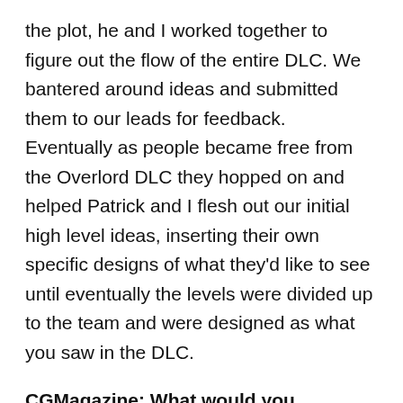the plot, he and I worked together to figure out the flow of the entire DLC. We bantered around ideas and submitted them to our leads for feedback. Eventually as people became free from the Overlord DLC they hopped on and helped Patrick and I flesh out our initial high level ideas, inserting their own specific designs of what they'd like to see until eventually the levels were divided up to the team and were designed as what you saw in the DLC.
CGMagazine: What would you describe as the difference, if any, between BioWare DLC...